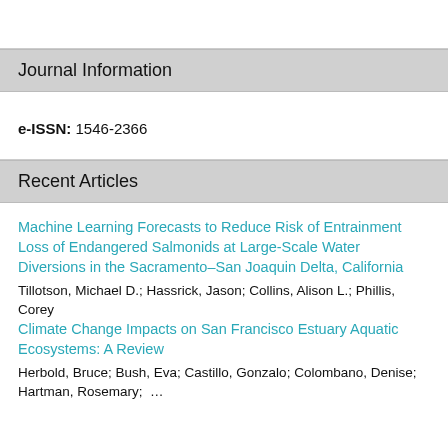Journal Information
e-ISSN: 1546-2366
Recent Articles
Machine Learning Forecasts to Reduce Risk of Entrainment Loss of Endangered Salmonids at Large-Scale Water Diversions in the Sacramento–San Joaquin Delta, California
Tillotson, Michael D.;  Hassrick, Jason;  Collins, Alison L.;  Phillis, Corey
Climate Change Impacts on San Francisco Estuary Aquatic Ecosystems: A Review
Herbold, Bruce;  Bush, Eva;  Castillo, Gonzalo;  Colombano, Denise;  Hartman, Rosemary;  …